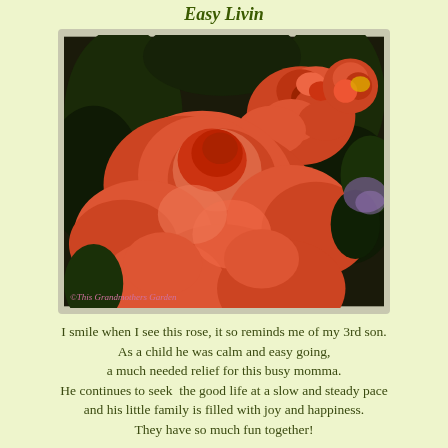Easy Livin
[Figure (photo): Close-up photo of orange-red roses in bloom against dark foliage background, with watermark text '©This Grandmothers Garden']
I smile when I see this rose, it so reminds me of my 3rd son. As a child he was calm and easy going, a much needed relief for this busy momma. He continues to seek  the good life at a slow and steady pace and his little family is filled with joy and happiness. They have so much fun together!